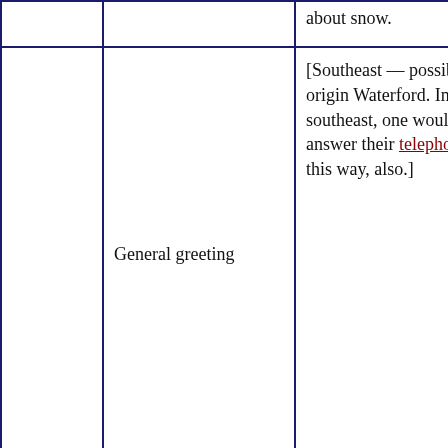|  |  | about snow. |
|  | General greeting | [Southeast — possible origin Waterford. In the southeast, one would often answer their telephone* this way, also.] |
|  | It must be nice | An expression of mild begrudgery |
|  | Weren't |  |
|  | Anglophile | Derisive. Often used in reference to the adoption or affectation of British accent in the speech of a native Irish |